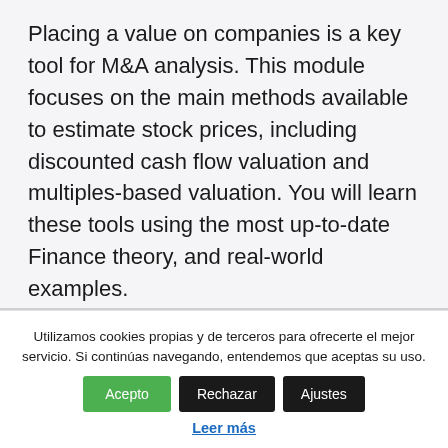Placing a value on companies is a key tool for M&A analysis. This module focuses on the main methods available to estimate stock prices, including discounted cash flow valuation and multiples-based valuation. You will learn these tools using the most up-to-date Finance theory, and real-world examples.
Module 3: The Role of Target and Acquirer
Utilizamos cookies propias y de terceros para ofrecerte el mejor servicio. Si continúas navegando, entendemos que aceptas su uso. Acepto Rechazar Ajustes
Leer más